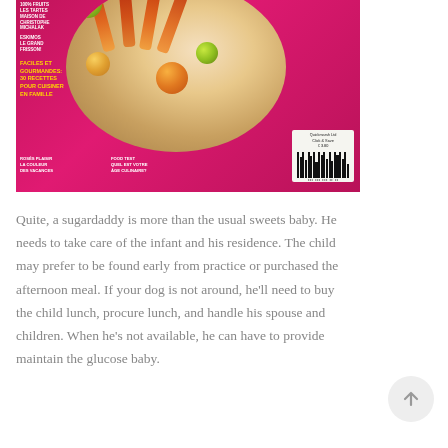[Figure (photo): French food/recipe magazine cover with pink/magenta background, showing food skewers on a plate with fruits. Text overlays include: '100% FRUITS LES TARTES MAISON DE CHRISTOPHE MICHALAK', 'ESKIMOS LE GRAND FRISSON!', 'FACILES ET GOURMANDES: 30 RECETTES POUR CUISINER EN FAMILLE', 'ROSÉS PLAISIR LA COULEUR DES VACANCES', 'FOOD TEST QUEL EST VOTRE ÂGE CULINAIRE?'. A price barcode sticker shows 'Quickmarsh Ltd Click & Save €3.80' visible at lower right.]
Quite, a sugardaddy is more than the usual sweets baby. He needs to take care of the infant and his residence. The child may prefer to be found early from practice or purchased the afternoon meal. If your dog is not around, he'll need to buy the child lunch, procure lunch, and handle his spouse and children. When he's not available, he can have to provide maintain the glucose baby.